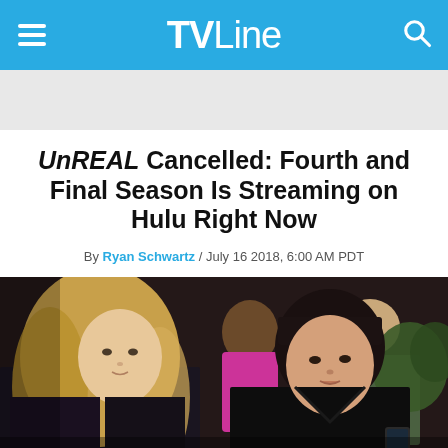TVLine
UnREAL Cancelled: Fourth and Final Season Is Streaming on Hulu Right Now
By Ryan Schwartz / July 16 2018, 6:00 AM PDT
[Figure (photo): Two women seated and looking forward. The woman on the left has long wavy blonde hair and wears a dark jacket. The woman on the right has a dark bob haircut and wears a black top. Several people are visible in the background.]